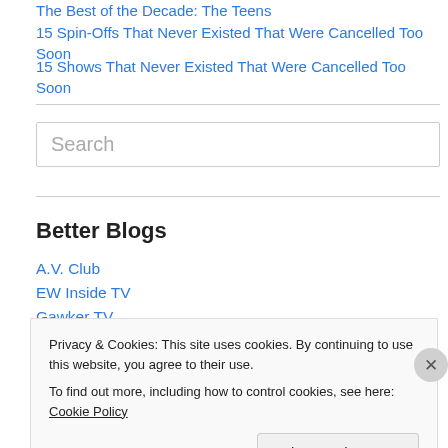15 Spin-Offs That Never Existed That Were Cancelled Too Soon
15 Shows That Never Existed That Were Cancelled Too Soon
Search
Better Blogs
A.V. Club
EW Inside TV
Gawker TV
Privacy & Cookies: This site uses cookies. By continuing to use this website, you agree to their use. To find out more, including how to control cookies, see here: Cookie Policy
Close and accept